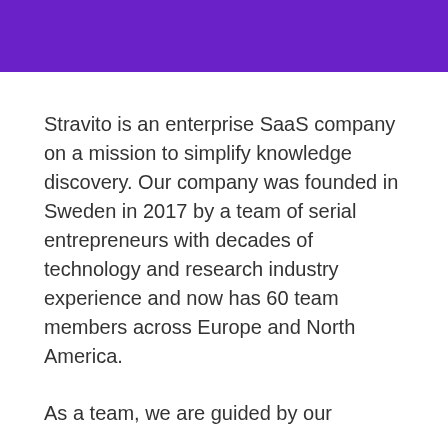Stravito is an enterprise SaaS company on a mission to simplify knowledge discovery. Our company was founded in Sweden in 2017 by a team of serial entrepreneurs with decades of technology and research industry experience and now has 60 team members across Europe and North America.
As a team, we are guided by our